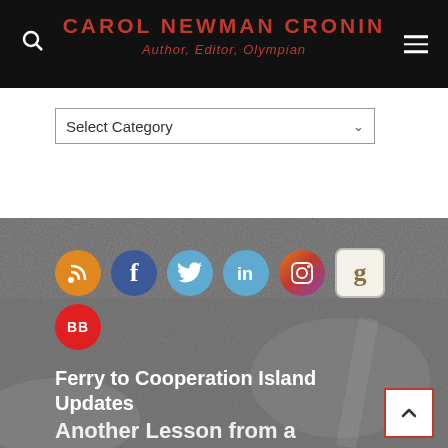CAROL NEWMAN CRONIN — Author, Editor, Olympian
Select Category
[Figure (screenshot): Social media icons row: RSS (orange), Facebook (dark blue), Twitter (light blue), LinkedIn (light blue), Instagram (gradient), Goodreads (beige square), and BookBub (red circle with BB)]
Ferry to Cooperation Island Updates
Another Lesson from a